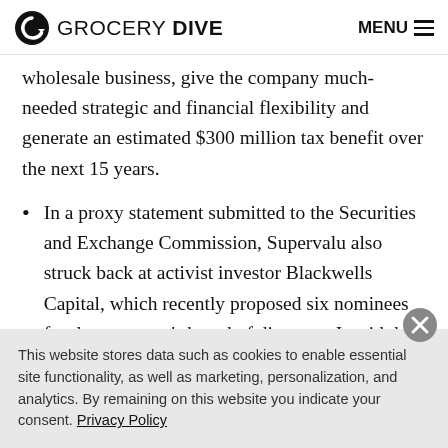GROCERY DIVE  MENU
wholesale business, give the company much-needed strategic and financial flexibility and generate an estimated $300 million tax benefit over the next 15 years.
In a proxy statement submitted to the Securities and Exchange Commission, Supervalu also struck back at activist investor Blackwells Capital, which recently proposed six nominees for the company's board of directors. It said the two sides are broadly aligned on
This website stores data such as cookies to enable essential site functionality, as well as marketing, personalization, and analytics. By remaining on this website you indicate your consent. Privacy Policy